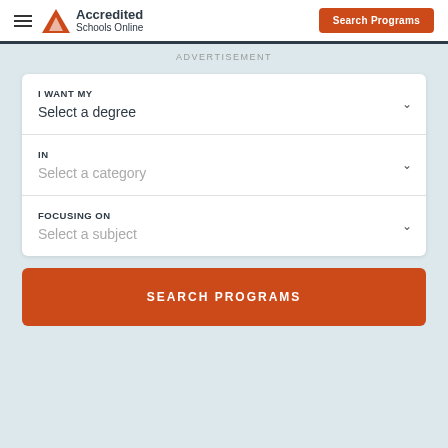Accredited Schools Online — Search Programs
ADVERTISEMENT
I WANT MY
Select a degree
IN
Select a category
FOCUSING ON
Select a subject
SEARCH PROGRAMS